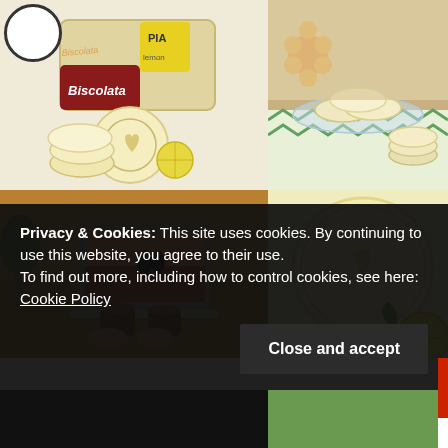[Figure (photo): Biscolata Pia lemon cookies product box with cookies scattered in front, white/cream cookies with heart design, on light background]
[Figure (photo): Round cream-colored sandwich cookies on a glass plate with orange flowers and green chevron tablecloth]
[Figure (photo): Two people holding coffee cups at a table with a laptop showing a silhouette couple at sunset]
[Figure (photo): Close-up of a single large round cream/yellow cookie with embossed heart design, with a lemon slice]
Privacy & Cookies: This site uses cookies. By continuing to use this website, you agree to their use.
To find out more, including how to control cookies, see here: Cookie Policy
Close and accept